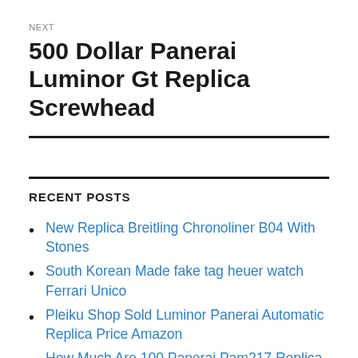NEXT
500 Dollar Panerai Luminor Gt Replica Screwhead
RECENT POSTS
New Replica Breitling Chronoliner B04 With Stones
South Korean Made fake tag heuer watch Ferrari Unico
Pleiku Shop Sold Luminor Panerai Automatic Replica Price Amazon
How Much Are 100 Panerai Pam217 Replica